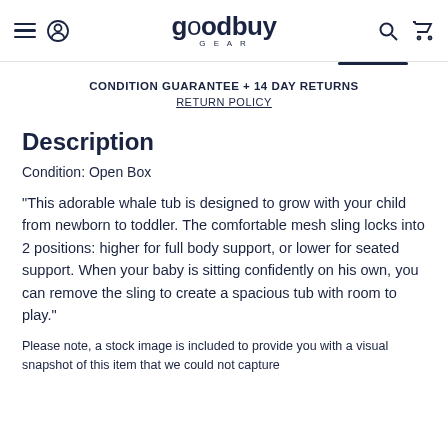goodbuy GEAR
CONDITION GUARANTEE + 14 DAY RETURNS
RETURN POLICY
Description
Condition: Open Box
"This adorable whale tub is designed to grow with your child from newborn to toddler. The comfortable mesh sling locks into 2 positions: higher for full body support, or lower for seated support. When your baby is sitting confidently on his own, you can remove the sling to create a spacious tub with room to play."
Please note, a stock image is included to provide you with a visual snapshot of this item that we could not capture